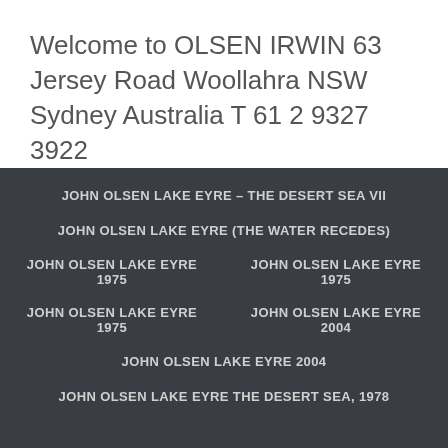Welcome to OLSEN IRWIN 63 Jersey Road Woollahra NSW Sydney Australia T 61 2 9327 3922
JOHN OLSEN LAKE EYRE – THE DESERT SEA VII
JOHN OLSEN LAKE EYRE (THE WATER RECEDES)
JOHN OLSEN LAKE EYRE 1975
JOHN OLSEN LAKE EYRE 1975
JOHN OLSEN LAKE EYRE 1975
JOHN OLSEN LAKE EYRE 2004
JOHN OLSEN LAKE EYRE 2004
JOHN OLSEN LAKE EYRE THE DESERT SEA, 1978